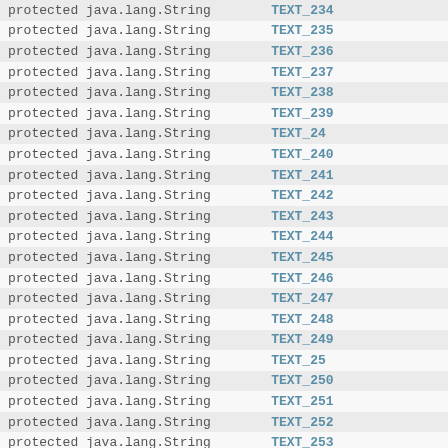| Type | Field |
| --- | --- |
| protected java.lang.String | TEXT_234 |
| protected java.lang.String | TEXT_235 |
| protected java.lang.String | TEXT_236 |
| protected java.lang.String | TEXT_237 |
| protected java.lang.String | TEXT_238 |
| protected java.lang.String | TEXT_239 |
| protected java.lang.String | TEXT_24 |
| protected java.lang.String | TEXT_240 |
| protected java.lang.String | TEXT_241 |
| protected java.lang.String | TEXT_242 |
| protected java.lang.String | TEXT_243 |
| protected java.lang.String | TEXT_244 |
| protected java.lang.String | TEXT_245 |
| protected java.lang.String | TEXT_246 |
| protected java.lang.String | TEXT_247 |
| protected java.lang.String | TEXT_248 |
| protected java.lang.String | TEXT_249 |
| protected java.lang.String | TEXT_25 |
| protected java.lang.String | TEXT_250 |
| protected java.lang.String | TEXT_251 |
| protected java.lang.String | TEXT_252 |
| protected java.lang.String | TEXT_253 |